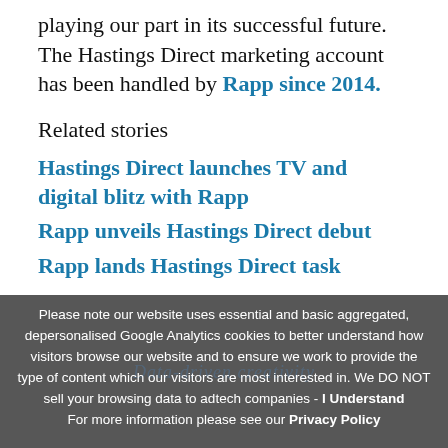playing our part in its successful future. The Hastings Direct marketing account has been handled by Rapp since 2014.
Related stories
Hastings Direct launches TV and digital blitz with Rapp
Rapp unveils Hastings Direct debut
Rapp lands Hastings Direct task
Please note our website uses essential and basic aggregated, depersonalised Google Analytics cookies to better understand how visitors browse our website and to ensure we work to provide the type of content which our visitors are most interested in. We DO NOT sell your browsing data to adtech companies - I Understand For more information please see our Privacy Policy